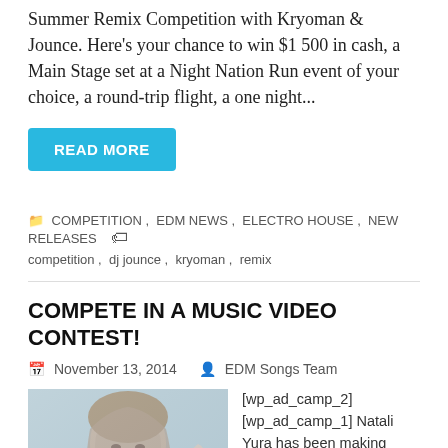Summer Remix Competition with Kryoman & Jounce. Here's your chance to win $1 500 in cash, a Main Stage set at a Night Nation Run event of your choice, a round-trip flight, a one night...
READ MORE
COMPETITION, EDM NEWS, ELECTRO HOUSE, NEW RELEASES  competition, dj jounce, kryoman, remix
COMPETE IN A MUSIC VIDEO CONTEST!
November 13, 2014   EDM Songs Team
[Figure (photo): Black and white photo of a young woman with long hair, posing with her hand near her head]
[wp_ad_camp_2] [wp_ad_camp_1] Natali Yura has been making quite a name for herself in 2014, having collaborated with